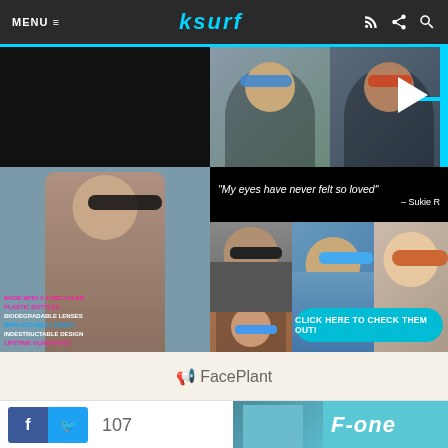MENU ≡  ksurf
[Figure (infographic): FacePlant sunglasses advertisement banner. Shows collage of people wearing sunglasses, text 'THE WORLDS MOST SUSTAINABLE SUNGLASSES', quote 'My eyes have never felt so loved' - Sukie R, product claims: MADE WITH 5X RECYCLED PLASTIC BOTTLES, BIODEGRADABLE LENSES, REPLACEABLE LENSES, INDESTRUCTABLE DESIGN, LIFETIME GUARANTEE. CTA button: CLICK HERE to check them out!]
🔊 FacePlant
[Figure (photo): Person wearing teal face covering, partially visible. F-one brand logo visible on right side in white italic text on cyan background.]